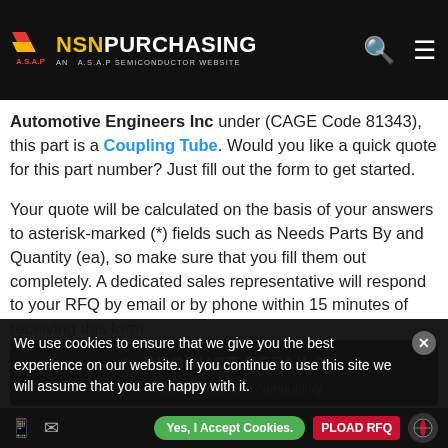NSN PURCHASING — AN A.S.A.P SEMICONDUCTOR WEBSITE
Automotive Engineers Inc under (CAGE Code 81343), this part is a Coupling Tube. Would you like a quick quote for this part number? Just fill out the form to get started.
Your quote will be calculated on the basis of your answers to asterisk-marked (*) fields such as Needs Parts By and Quantity (ea), so make sure that you fill them out completely. A dedicated sales representative will respond to your RFQ by email or by phone within 15 minutes of receiving this form.
PRODUCT DETAILS
"*" Required fields are compulsory
Enter Mfg Part Number*
We use cookies to ensure that we give you the best experience on our website. If you continue to use this site we will assume that you are happy with it.
Yes, I Accept Cookies. | UPLOAD RFQ